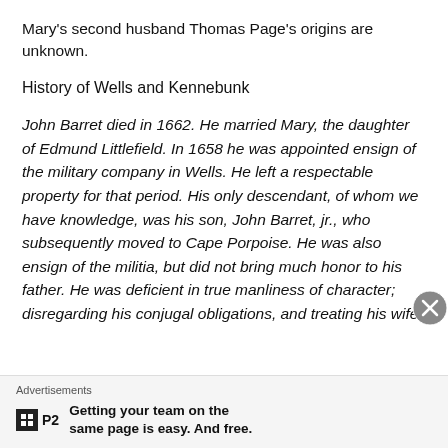Mary's second husband Thomas Page's origins are unknown.
History of Wells and Kennebunk
John Barret died in 1662. He married Mary, the daughter of Edmund Littlefield. In 1658 he was appointed ensign of the military company in Wells. He left a respectable property for that period. His only descendant, of whom we have knowledge, was his son, John Barret, jr., who subsequently moved to Cape Porpoise. He was also ensign of the militia, but did not bring much honor to his father. He was deficient in true manliness of character; disregarding his conjugal obligations, and treating his wife
Advertisements
Getting your team on the same page is easy. And free.